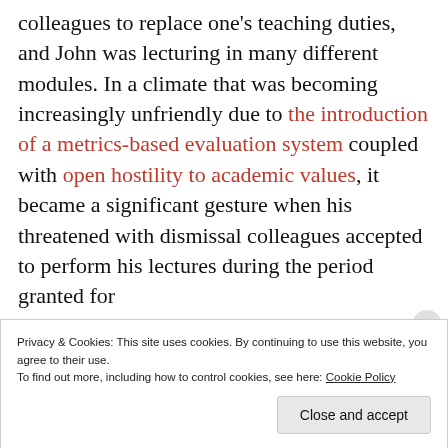colleagues to replace one's teaching duties, and John was lecturing in many different modules. In a climate that was becoming increasingly unfriendly due to the introduction of a metrics-based evaluation system coupled with open hostility to academic values, it became a significant gesture when his threatened with dismissal colleagues accepted to perform his lectures during the period granted for
Privacy & Cookies: This site uses cookies. By continuing to use this website, you agree to their use.
To find out more, including how to control cookies, see here: Cookie Policy